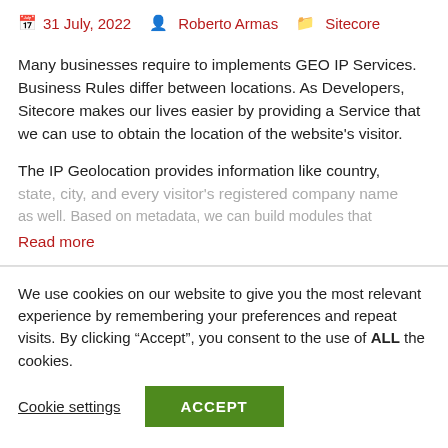31 July, 2022  Roberto Armas  Sitecore
Many businesses require to implements GEO IP Services. Business Rules differ between locations. As Developers, Sitecore makes our lives easier by providing a Service that we can use to obtain the location of the website's visitor.
The IP Geolocation provides information like country, state, city, and every visitor's registered company name as well. Based on metadata, we can build modules that...
Read more
We use cookies on our website to give you the most relevant experience by remembering your preferences and repeat visits. By clicking "Accept", you consent to the use of ALL the cookies.
Cookie settings  ACCEPT